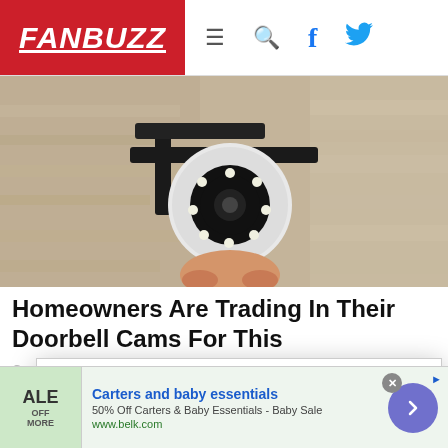FANBUZZ
[Figure (photo): Security camera mounted on a wall bracket, white dome camera with LED ring, attached to a dark metal mount against a textured stone/brick wall]
Homeowners Are Trading In Their Doorbell Cams For This
In accordance with our Privacy Policy, we may share with our parent company (PCH) and advertising partners an anonymized identifier that protects your privacy, provides advertising tailored to your interests and gives you access to advertising supported content. Data collected on one of our sites may be used on our other owned and operated sites, which sites are identified in our Privacy Policy. All of our sites are governed by the same
Carters and baby essentials
50% Off Carters & Baby Essentials - Baby Sale
www.belk.com